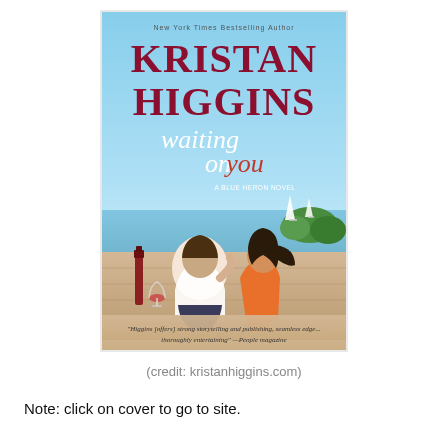[Figure (illustration): Book cover of 'Waiting on You' by Kristan Higgins. A Blue Heron Novel. Features a couple sitting on a dock leaning toward each other, blue sky background with sailboats, wine glasses. Text at top: 'New York Times Bestselling Author'. Quote at bottom from People magazine.]
(credit: kristanhiggins.com)
Note: click on cover to go to site.